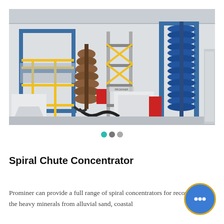[Figure (photo): Industrial factory interior showing spiral chute concentrator equipment. Large blue metal frame structures with yellow safety railings, spiral chute concentrators (blue helical/coiled separators on the right), conveyor equipment, and white hopper/tank structures on a factory floor.]
● ● ●
Spiral Chute Concentrator
Prominer can provide a full range of spiral concentrators for recovering the heavy minerals from alluvial sand, coastal